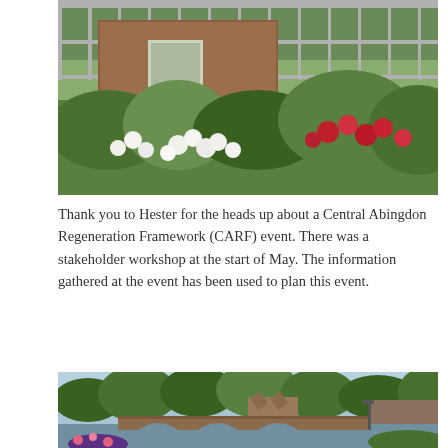[Figure (photo): A building under scaffolding renovation with lush green garden foliage and flowering rose bushes in the foreground, showing white and red roses against a brick building with scaffolding.]
Thank you to Hester for the heads up about a Central Abingdon Regeneration Framework (CARF) event. There was a stakeholder workshop at the start of May. The information gathered at the event has been used to plan this event.
[Figure (photo): A scenic view of Abingdon showing an old stone bridge with arched spans over a river, with historic brick buildings, green trees and some flowers visible in a pleasant English town setting.]